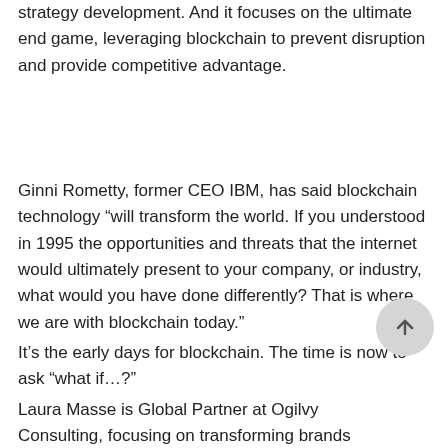strategy development. And it focuses on the ultimate end game, leveraging blockchain to prevent disruption and provide competitive advantage.
Ginni Rometty, former CEO IBM, has said blockchain technology “will transform the world. If you understood in 1995 the opportunities and threats that the internet would ultimately present to your company, or industry, what would you have done differently? That is where we are with blockchain today.”
It’s the early days for blockchain. The time is now to ask “what if…?”
Laura Masse is Global Partner at Ogilvy Consulting, focusing on transforming brands into profitable,